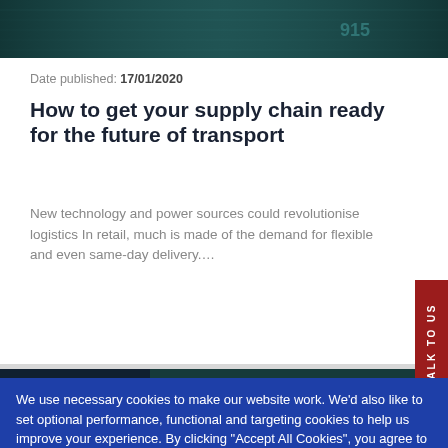[Figure (photo): Dark teal-toned background image of logistics/transport scene forming a banner at top of page]
Date published: 17/01/2020
How to get your supply chain ready for the future of transport
New technology and power sources could revolutionise logistics In retail, much is made of the demand for flexible and even same-day delivery....
[Figure (photo): Dark teal image partially visible behind Health label strip]
Health
We use necessary cookies to make our website work. We'd also like to set optional performance, functional and targeting cookies to help us improve your experience. By clicking "Accept All Cookies", you agree to the storing of cookies on your device to enhance site navigation, analyse site usage, and assist in our marketing efforts. For more detailed